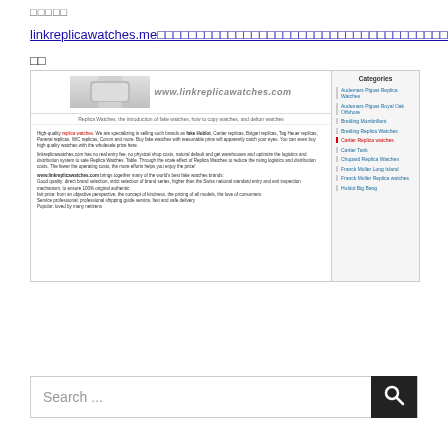□□□□□
linkreplicawatches.me □□□□□□□□□□□□□□□□□□□□□□□□□□□□□□□□□□□□□□□□□□□□□□□□□□
□□
[Figure (screenshot): Screenshot of linkreplicawatches.com website showing a replica watches page with header logo, navigation text, content about high-quality replica watches, and a sidebar with categories including Audemars Piguet Replica Watches, Audemars Piguet Royal Oak Offshore, Breitling Montbrillant, Breitling Replica Watches, Cartier Replica watches (active/red), Cartier Tank, Chopard Replica Watches, Franck Muller Long Island, Franck Muller Replica watches, Hublot Big Bang]
Search ...